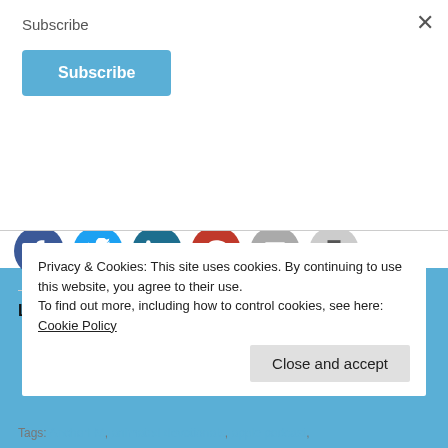Subscribe
Subscribe
[Figure (screenshot): Social sharing icons row with YouTube (red rectangle) and Pinterest (red circle) logos]
Share this:
[Figure (infographic): Row of social share buttons: Facebook (blue circle), Twitter (light blue circle), LinkedIn (teal circle), Pinterest (red circle), Email (grey circle), Print (light grey circle)]
Like this:
Privacy & Cookies: This site uses cookies. By continuing to use this website, you agree to their use.
To find out more, including how to control cookies, see here: Cookie Policy
Close and accept
Tags: AnchorFM, animated devotionals, apple podcast,